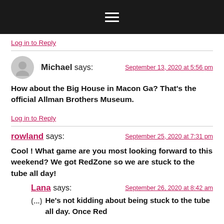hamburger menu icon
Log in to Reply
Michael says: September 13, 2020 at 5:56 pm
How about the Big House in Macon Ga? That's the official Allman Brothers Museum.
Log in to Reply
rowland says: September 25, 2020 at 7:31 pm
Cool ! What game are you most looking forward to this weekend? We got RedZone so we are stuck to the tube all day!
Lana says: September 26, 2020 at 8:42 am
He's not kidding about being stuck to the tube all day. Once Red